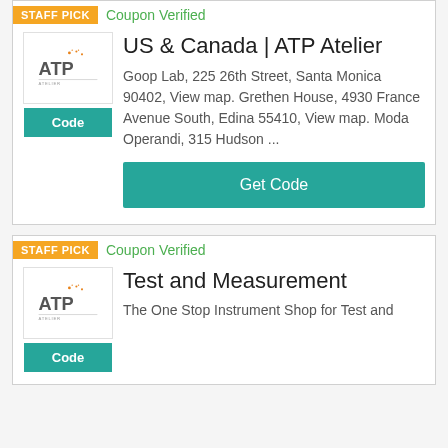STAFF PICK
Coupon Verified
US & Canada | ATP Atelier
Goop Lab, 225 26th Street, Santa Monica 90402, View map. Grethen House, 4930 France Avenue South, Edina 55410, View map. Moda Operandi, 315 Hudson ...
Get Code
STAFF PICK
Coupon Verified
Test and Measurement
The One Stop Instrument Shop for Test and